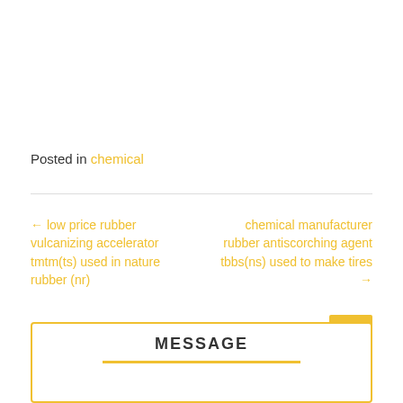Posted in chemical
← low price rubber vulcanizing accelerator tmtm(ts) used in nature rubber (nr)
chemical manufacturer rubber antiscorching agent tbbs(ns) used to make tires →
MESSAGE